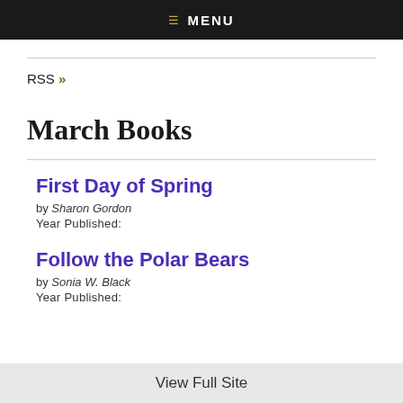≡ MENU
RSS »
March Books
First Day of Spring
by Sharon Gordon
Year Published:
Follow the Polar Bears
by Sonia W. Black
Year Published:
View Full Site